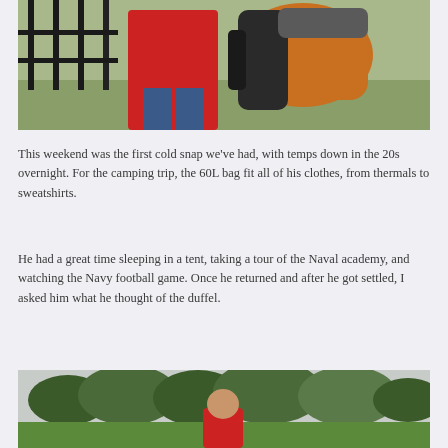[Figure (photo): A person wearing a red hoodie and carrying a large orange and black backpack/duffel bag, standing near a black iron fence with grass and outdoor scenery in the background.]
This weekend was the first cold snap we've had, with temps down in the 20s overnight. For the camping trip, the 60L bag fit all of his clothes, from thermals to sweatshirts.
He had a great time sleeping in a tent, taking a tour of the Naval academy, and watching the Navy football game. Once he returned and after he got settled, I asked him what he thought of the duffel.
[Figure (photo): A child wearing a red hoodie viewed from behind, standing on a green grass field with trees in the background under an overcast sky.]